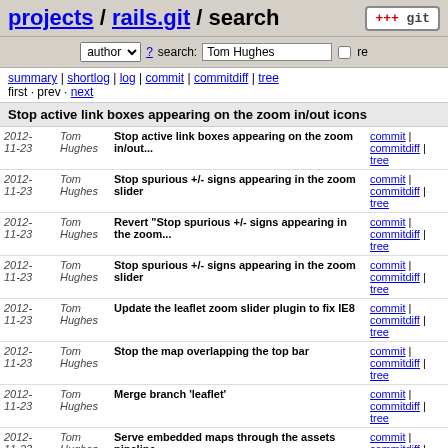projects / rails.git / search
author ? search: Tom Hughes re
summary | shortlog | log | commit | commitdiff | tree
first · prev · next
Stop active link boxes appearing on the zoom in/out icons
| Date | Author | Message | Links |
| --- | --- | --- | --- |
| 2012-11-23 | Tom Hughes | Stop active link boxes appearing on the zoom in/out... | commit | commitdiff | tree |
| 2012-11-23 | Tom Hughes | Stop spurious +/- signs appearing in the zoom slider | commit | commitdiff | tree |
| 2012-11-23 | Tom Hughes | Revert "Stop spurious +/- signs appearing in the zoom... | commit | commitdiff | tree |
| 2012-11-23 | Tom Hughes | Stop spurious +/- signs appearing in the zoom slider | commit | commitdiff | tree |
| 2012-11-23 | Tom Hughes | Update the leaflet zoom slider plugin to fix IE8 | commit | commitdiff | tree |
| 2012-11-23 | Tom Hughes | Stop the map overlapping the top bar | commit | commitdiff | tree |
| 2012-11-23 | Tom Hughes | Merge branch 'leaflet' | commit | commitdiff | tree |
| 2012-11-23 | Tom Hughes | Serve embedded maps through the assets pipeline | commit | commitdiff | tree |
| 2012-11-23 | Tom Hughes | Move map controls higher in the | commit | commitdiff |